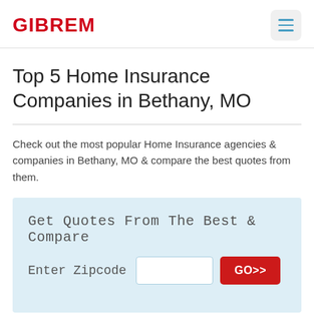GIBREM
Top 5 Home Insurance Companies in Bethany, MO
Check out the most popular Home Insurance agencies & companies in Bethany, MO & compare the best quotes from them.
Get Quotes From The Best & Compare
Enter Zipcode [input field] GO>>